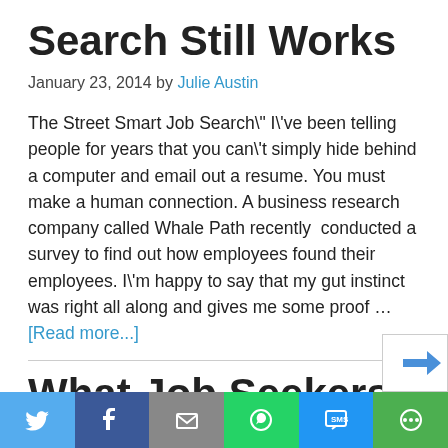Search Still Works
January 23, 2014 by Julie Austin
The Street Smart Job Search\" I\'ve been telling people for years that you can\'t simply hide behind a computer and email out a resume. You must make a human connection. A business research company called Whale Path recently conducted a survey to find out how employees found their employees. I\'m happy to say that my gut instinct was right all along and gives me some proof … [Read more...]
What Job Seekers in the U.S. Can Learn
[Figure (other): Social share bar with Twitter, Facebook, Email, WhatsApp, SMS, and More buttons]